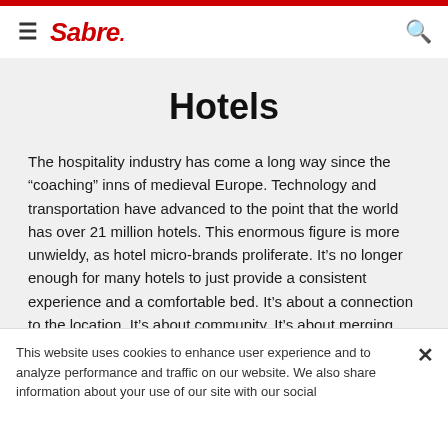Sabre
Hotels
The hospitality industry has come a long way since the “coaching” inns of medieval Europe. Technology and transportation have advanced to the point that the world has over 21 million hotels. This enormous figure is more unwieldy, as hotel micro-brands proliferate. It’s no longer enough for many hotels to just provide a consistent experience and a comfortable bed. It’s about a connection to the location. It’s about community. It’s about merging seamless technology with memorable hospitality. With the travel space, technology has…
This website uses cookies to enhance user experience and to analyze performance and traffic on our website. We also share information about your use of our site with our social